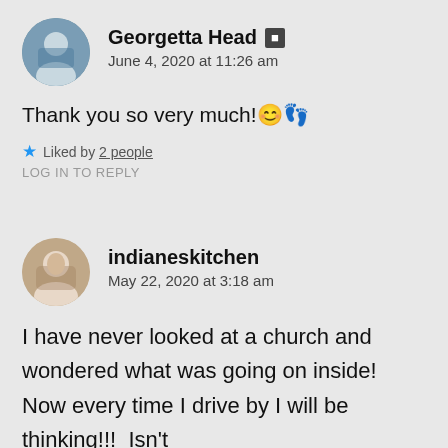Georgetta Head [user icon] June 4, 2020 at 11:26 am
Thank you so very much! 😊👣
★ Liked by 2 people
LOG IN TO REPLY
indianeskitchen May 22, 2020 at 3:18 am
I have never looked at a church and wondered what was going on inside! Now every time I drive by I will be thinking!!! Isn't